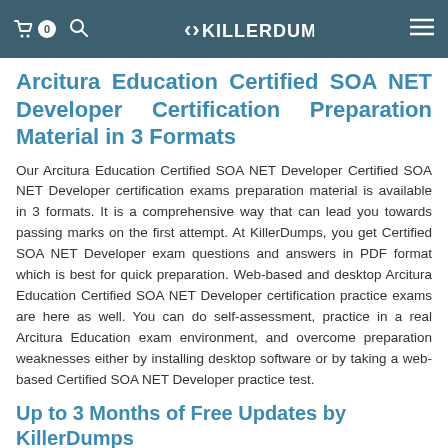0  KILLERDUMPS
Arcitura Education Certified SOA NET Developer Certification Preparation Material in 3 Formats
Our Arcitura Education Certified SOA NET Developer Certified SOA NET Developer certification exams preparation material is available in 3 formats. It is a comprehensive way that can lead you towards passing marks on the first attempt. At KillerDumps, you get Certified SOA NET Developer exam questions and answers in PDF format which is best for quick preparation. Web-based and desktop Arcitura Education Certified SOA NET Developer certification practice exams are here as well. You can do self-assessment, practice in a real Arcitura Education exam environment, and overcome preparation weaknesses either by installing desktop software or by taking a web-based Certified SOA NET Developer practice test.
Up to 3 Months of Free Updates by KillerDumps
We offer up to 3 months of Arcitura Education Certified SOA NET Developer Certified SOA NET Developer dumps free updates. With us, you don't have to pay extra money if the Certified SOA NET